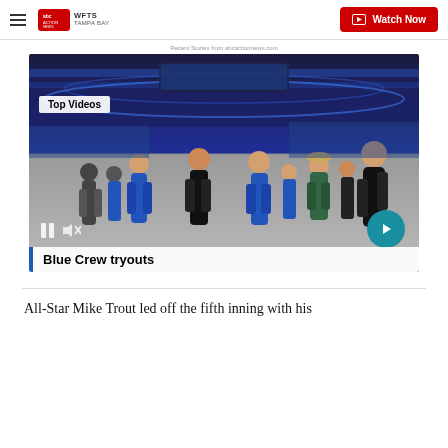WFTS TAMPA BAY | Watch Now
Recent Stories from abcactionnews.com
[Figure (screenshot): Video thumbnail showing people dancing/auditioning on an arena floor, with 'Top Videos' badge and 'Blue Crew tryouts' caption bar at the bottom. Pause and mute controls visible, with a teal next-arrow button.]
All-Star Mike Trout led off the fifth inning with his